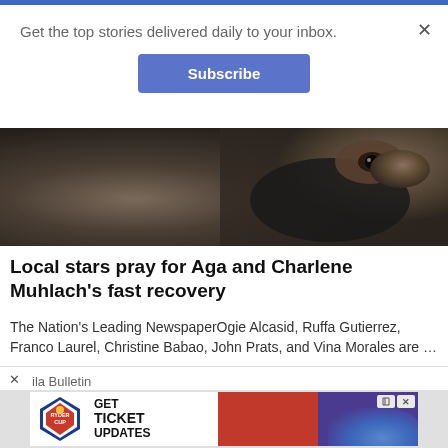Get the top stories delivered daily to your inbox.
Subscribe
[Figure (photo): Close-up photo of a person wearing a dark face mask, showing only their eye.]
Local stars pray for Aga and Charlene Muhlach's fast recovery
The Nation's Leading NewspaperOgie Alcasid, Ruffa Gutierrez, Franco Laurel, Christine Babao, John Prats, and Vina Morales are …
ila Bulletin
[Figure (infographic): Ryder Cup advertisement: GET TICKET UPDATES with Ryder Cup logo and golf players.]